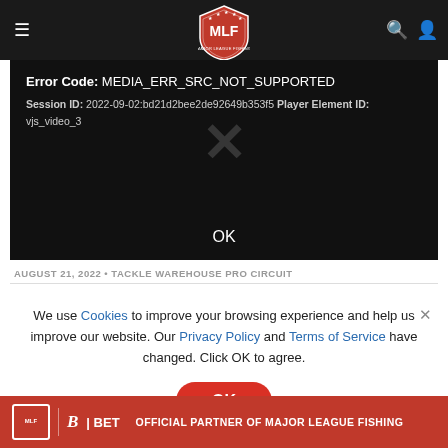[Figure (screenshot): MLF (Major League Fishing) website navigation bar with hamburger menu, MLF shield logo, search and user icons on dark background]
[Figure (screenshot): Video player error panel showing 'Error Code: MEDIA_ERR_SRC_NOT_SUPPORTED', Session ID and Player Element ID, with an X mark and OK button on black background]
AUGUST 21, 2022 • TACKLE WAREHOUSE PRO CIRCUIT
We use Cookies to improve your browsing experience and help us improve our website. Our Privacy Policy and Terms of Service have changed. Click OK to agree.
[Figure (screenshot): Red OK button for cookie consent]
[Figure (screenshot): Red advertisement banner: BET - OFFICIAL PARTNER OF MAJOR LEAGUE FISHING]